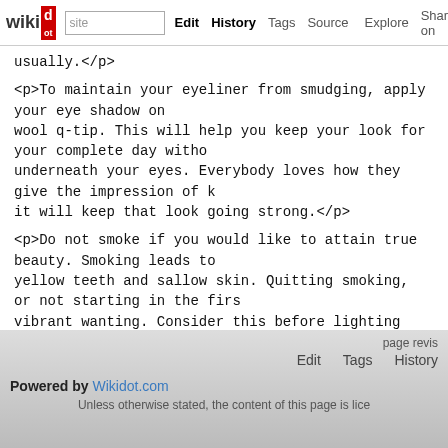wikidot | Edit | History | Tags | Source | Explore | Share on
usually.</p>
<p>To maintain your eyeliner from smudging, apply your eye shadow on wool q-tip. This will help you keep your look for your complete day witho... underneath your eyes. Everybody loves how they give the impression of k... it will keep that look going strong.</p>
<p>Do not smoke if you would like to attain true beauty. Smoking leads to yellow teeth and sallow skin. Quitting smoking, or not starting in the firs... vibrant wanting. Consider this before lighting up.</p>
<p>The previous magnificence tips should offer you just a few good idea... absorb, but now, at least, you've got an understanding on tips on how to... regimen. Make sure to keep this listing handy as a reference.</p>
Comments: 0
Add a New Comment
page revis | Edit | Tags | History
Powered by Wikidot.com
Unless otherwise stated, the content of this page is lice...